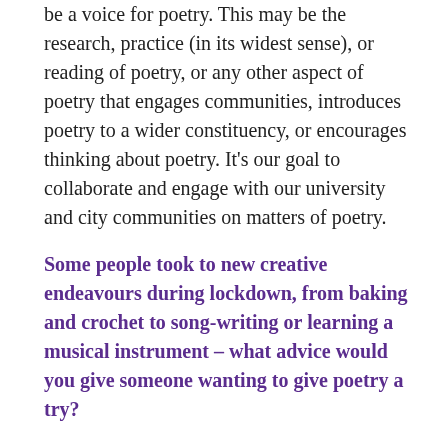be a voice for poetry. This may be the research, practice (in its widest sense), or reading of poetry, or any other aspect of poetry that engages communities, introduces poetry to a wider constituency, or encourages thinking about poetry. It's our goal to collaborate and engage with our university and city communities on matters of poetry.
Some people took to new creative endeavours during lockdown, from baking and crochet to song-writing or learning a musical instrument – what advice would you give someone wanting to give poetry a try?
William: You wouldn't start song-writing without listening to and loving a host of songs first, so I'd suggest starting out by reading and listening to as much poetry as possible, maybe learning some of